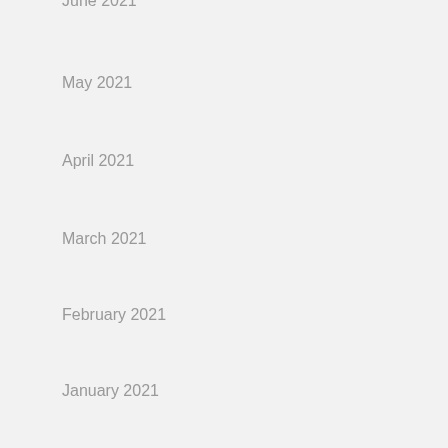June 2021
May 2021
April 2021
March 2021
February 2021
January 2021
December 2020
November 2020
October 2020
September 2020
August 2020